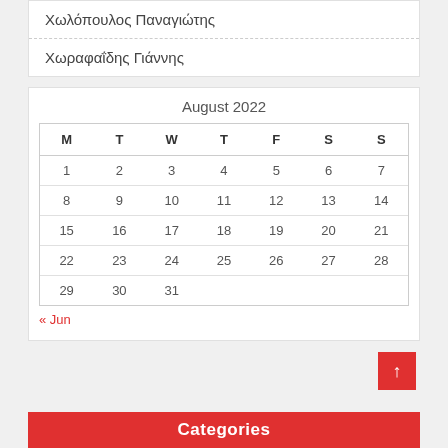Χωλόπουλος Παναγιώτης
Χωραφαΐδης Γιάννης
| M | T | W | T | F | S | S |
| --- | --- | --- | --- | --- | --- | --- |
| 1 | 2 | 3 | 4 | 5 | 6 | 7 |
| 8 | 9 | 10 | 11 | 12 | 13 | 14 |
| 15 | 16 | 17 | 18 | 19 | 20 | 21 |
| 22 | 23 | 24 | 25 | 26 | 27 | 28 |
| 29 | 30 | 31 |  |  |  |  |
« Jun
Categories